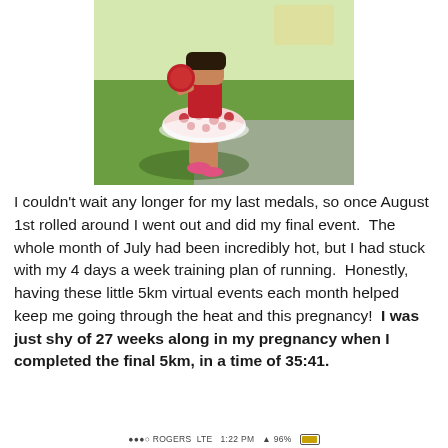[Figure (photo): A person in a red and white polka-dot tutu skirt and red top, standing outdoors on grass/pavement, wearing pink shoes. The person is bent slightly forward, wearing a running costume resembling a Minnie Mouse outfit.]
I couldn't wait any longer for my last medals, so once August 1st rolled around I went out and did my final event.  The whole month of July had been incredibly hot, but I had stuck with my 4 days a week training plan of running.  Honestly, having these little 5km virtual events each month helped keep me going through the heat and this pregnancy!  I was just shy of 27 weeks along in my pregnancy when I completed the final 5km, in a time of 35:41.
••• ROGERS  LTE     1:22 PM     96%